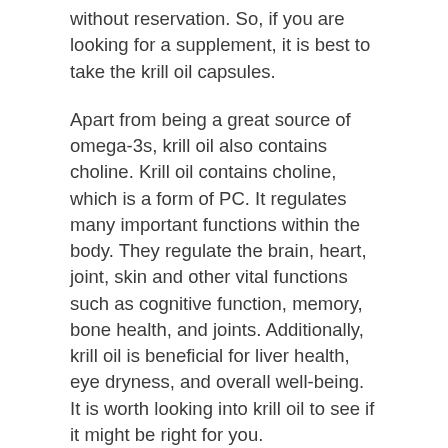without reservation. So, if you are looking for a supplement, it is best to take the krill oil capsules.
Apart from being a great source of omega-3s, krill oil also contains choline. Krill oil contains choline, which is a form of PC. It regulates many important functions within the body. They regulate the brain, heart, joint, skin and other vital functions such as cognitive function, memory, bone health, and joints. Additionally, krill oil is beneficial for liver health, eye dryness, and overall well-being. It is worth looking into krill oil to see if it might be right for you.
Friend-of-the-Sea-certified sustainable krill oil